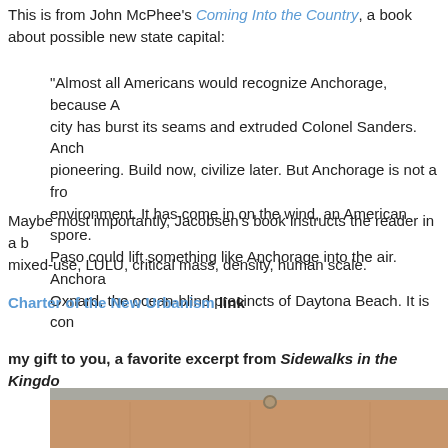This is from John McPhee's Coming Into the Country, a book about possible new state capital:
"Almost all Americans would recognize Anchorage, because A city has burst its seams and extruded Colonel Sanders. Anch pioneering. Build now, civilize later. But Anchorage is not a fr environment. It has come in on the wind, an American spore. Paso could lift something like Anchorage into the air. Anchora Oxnard, the ocean-blind precincts of Daytona Beach. It is con
Maybe most importantly, Jacobsen's book instructs the reader in a b mixed-use, LULU, critical mass, density, human scale.
Charter of the New Urbanism link
my gift to you, a favorite excerpt from Sidewalks in the Kingdom
[Figure (photo): A photo showing a brown/tan surface (possibly a book cover or cardboard) against a gray stone or concrete background, with a small round object visible at the top.]